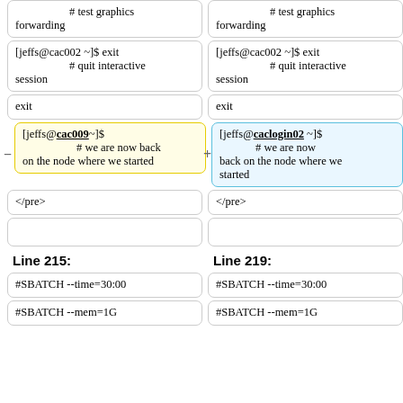# test graphics forwarding
# test graphics forwarding
[jeffs@cac002 ~]$ exit
# quit interactive session
[jeffs@cac002 ~]$ exit
# quit interactive session
exit
exit
[jeffs@cac009 ~]$
# we are now back on the node where we started
[jeffs@caclogin02 ~]$
# we are now back on the node where we started
</pre>
</pre>
Line 215:
Line 219:
#SBATCH --time=30:00
#SBATCH --time=30:00
#SBATCH --mem=1G
#SBATCH --mem=1G